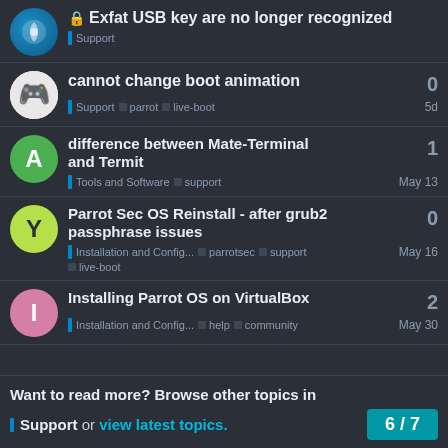🔒 Exfat USB key are no longer recognized — Support
cannot change boot animation — Support, parrot, live-boot — 5d — 0 replies
difference between Mate-Terminal and Termit — Tools and Software, support — May 13 — 1 reply
Parrot Sec OS Reinstall - after grub2 passphrase issues — Installation and Config..., parrotsec, support, live-boot — May 16 — 0 replies
Installing Parrot OS on VirtualBox — Installation and Config..., help, community — May 30 — 2 replies
Want to read more? Browse other topics in Support or view latest topics.
6 / 7